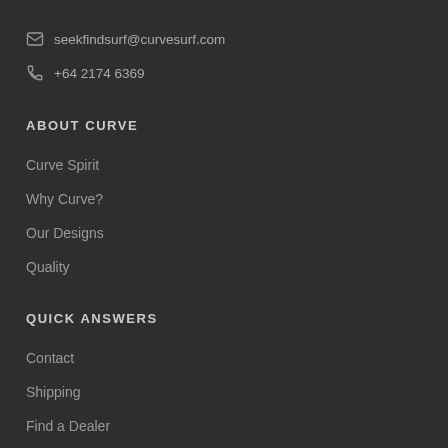seekfindsurf@curvesurf.com
+64 2174 6369
ABOUT CURVE
Curve Spirit
Why Curve?
Our Designs
Quality
QUICK ANSWERS
Contact
Shipping
Find a Dealer
Legal